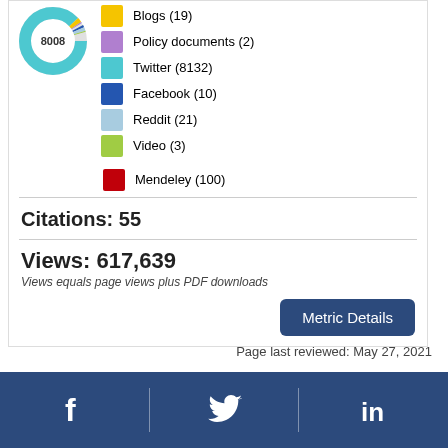[Figure (donut-chart): Donut chart showing altmetric score of 8008 with colored segments for different social media and reference sources]
Blogs (19)
Policy documents (2)
Twitter (8132)
Facebook (10)
Reddit (21)
Video (3)
Mendeley (100)
Citations: 55
Views: 617,639
Views equals page views plus PDF downloads
Metric Details
Page last reviewed: May 27, 2021
[Figure (logo): Social media footer bar with Facebook, Twitter, and LinkedIn icons on dark blue background]